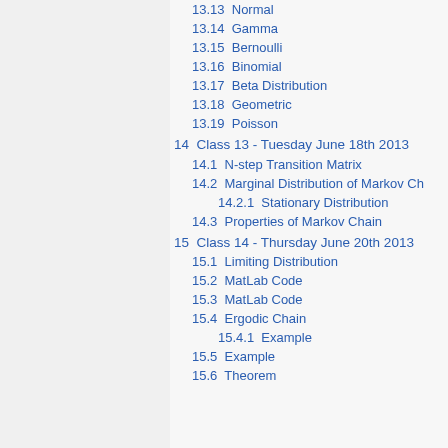13.13  Normal
13.14  Gamma
13.15  Bernoulli
13.16  Binomial
13.17  Beta Distribution
13.18  Geometric
13.19  Poisson
14  Class 13 - Tuesday June 18th 2013
14.1  N-step Transition Matrix
14.2  Marginal Distribution of Markov Ch
14.2.1  Stationary Distribution
14.3  Properties of Markov Chain
15  Class 14 - Thursday June 20th 2013
15.1  Limiting Distribution
15.2  MatLab Code
15.3  MatLab Code
15.4  Ergodic Chain
15.4.1  Example
15.5  Example
15.6  Theorem